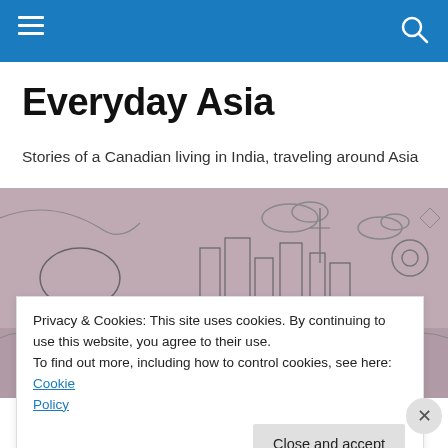Navigation bar with hamburger menu and search icon
Everyday Asia
Stories of a Canadian living in India, traveling around Asia
[Figure (illustration): A black and white sketch-style illustration of a busy Asian city skyline with crowds, buildings, vehicles, clouds, and decorative elements on a muted mauve/grey background]
Privacy & Cookies: This site uses cookies. By continuing to use this website, you agree to their use.
To find out more, including how to control cookies, see here: Cookie Policy
Close and accept
Advertisements